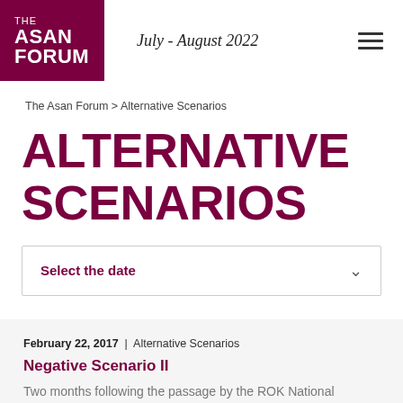THE ASAN FORUM | July - August 2022
The Asan Forum > Alternative Scenarios
ALTERNATIVE SCENARIOS
Select the date
February 22, 2017 | Alternative Scenarios
Negative Scenario II
Two months following the passage by the ROK National Assembly of a motion of impeachment against Park Geun-hye, power remains in the hands of Acting President Hwang Kyo-ahn, [...]